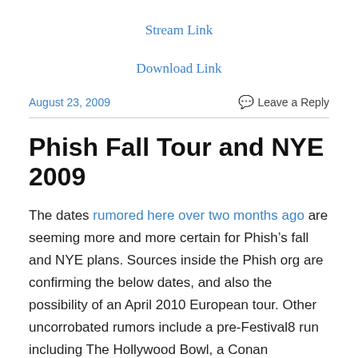Stream Link
Download Link
August 23, 2009
Leave a Reply
Phish Fall Tour and NYE 2009
The dates rumored here over two months ago are seeming more and more certain for Phish’s fall and NYE plans. Sources inside the Phish org are confirming the below dates, and also the possibility of an April 2010 European tour. Other uncorrobated rumors include a pre-Festival8 run including The Hollywood Bowl, a Conan appearance, and a stop in Denver at a location TBD.